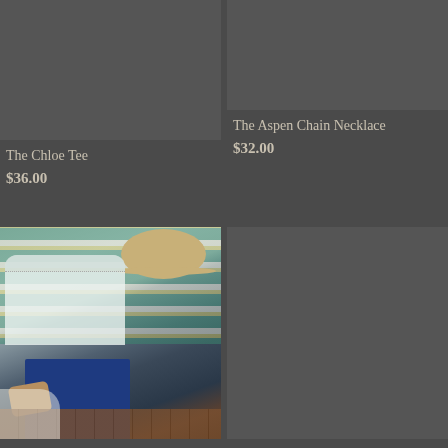[Figure (photo): Product image placeholder for The Chloe Tee (dark gray rectangle)]
The Chloe Tee
$36.00
[Figure (photo): Product image placeholder for The Aspen Chain Necklace (dark gray rectangle)]
The Aspen Chain Necklace
$32.00
[Figure (photo): Lifestyle photo showing a white off-the-shoulder blouse, dark blue jeans, tan heeled sandals, a tan wide-brim hat, and a colorful aztec blanket in the background on a wood floor]
[Figure (photo): Product image placeholder (dark gray rectangle), bottom right]